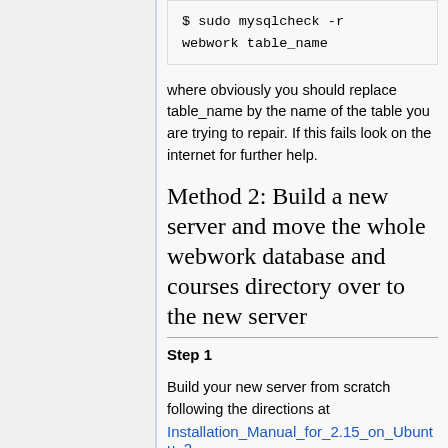[Figure (screenshot): Left sidebar/navigation panel, light gray background with blue left border line]
$ sudo mysqlcheck -r webwork table_name
where obviously you should replace table_name by the name of the table you are trying to repair. If this fails look on the internet for further help.
Method 2: Build a new server and move the whole webwork database and courses directory over to the new server
Step 1
Build your new server from scratch following the directions at
Installation_Manual_for_2.15_on_Ubuntu_2